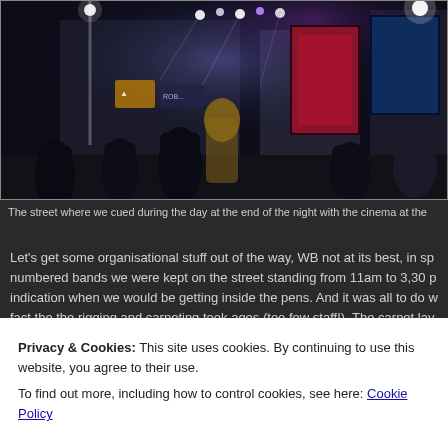[Figure (photo): Night street scene with crowd of people in front of what appears to be a cinema or venue with bright lights and illuminated screens/billboards in the background]
The street where we cued during the day at the end of the night with the cinema at the
Let’s get some organisational stuff out of the way, WB not at its best, in sp numbered bands we were kept on the street standing from 11am to 3,30 p indication when we would be getting inside the pens. And it was all to do w fact the the rigging and carpeting took ages (too few staff!). The carpet lay
Privacy & Cookies: This site uses cookies. By continuing to use this website, you agree to their use.
To find out more, including how to control cookies, see here: Cookie Policy
all before.